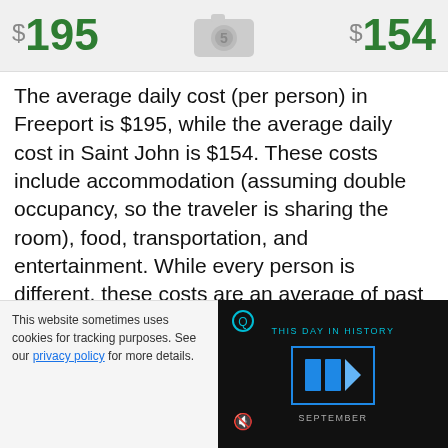$195   $154
The average daily cost (per person) in Freeport is $195, while the average daily cost in Saint John is $154. These costs include accommodation (assuming double occupancy, so the traveler is sharing the room), food, transportation, and entertainment. While every person is different, these costs are an average of past travelers in each categorical break
This website sometimes uses cookies for tracking purposes. See our privacy policy for more details.
[Figure (screenshot): Video overlay showing 'THIS DAY IN HISTORY' with blue play button and SEPTEMBER label on dark background]